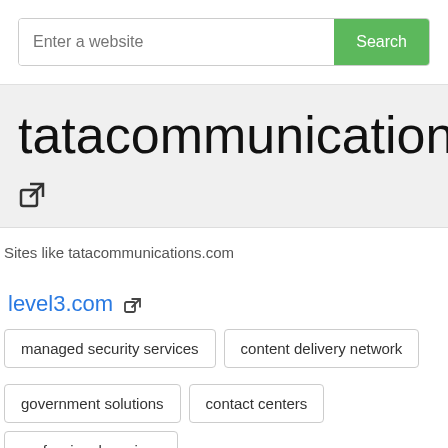[Figure (screenshot): Search bar with placeholder 'Enter a website' and green Search button]
tatacommunications.com
[Figure (other): External link icon]
Sites like tatacommunications.com
level3.com (external link icon)
managed security services
content delivery network
government solutions
contact centers
professional services